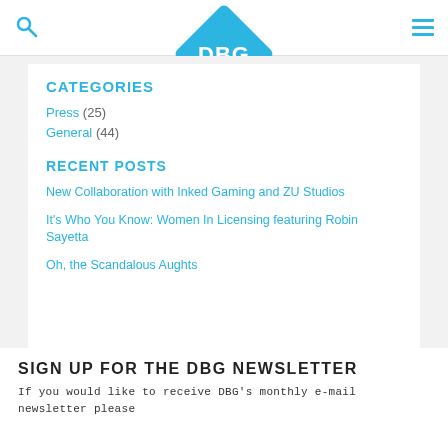[Figure (logo): DBG logo — blue diamond/rhombus shape with white letters DBG]
CATEGORIES
Press (25)
General (44)
RECENT POSTS
New Collaboration with Inked Gaming and ZU Studios
It's Who You Know: Women In Licensing featuring Robin Sayetta
Oh, the Scandalous Aughts
SIGN UP FOR THE DBG NEWSLETTER
If you would like to receive DBG's monthly e-mail newsletter please